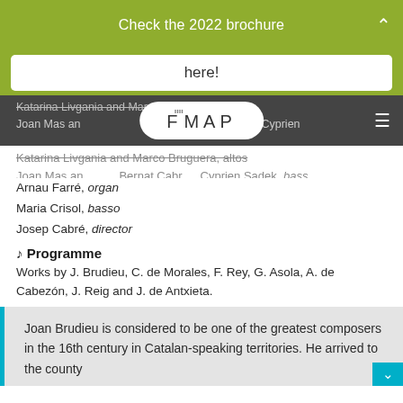Check the 2022 brochure
here!
Katarina Livgania and Marco Bruguera, altos Joan Mas and... Bernat Cabr... Cyprien Sadek, bass
Arnau Farré, organ
Maria Crisol, basso
Josep Cabré, director
♩ Programme
Works by J. Brudieu, C. de Morales, F. Rey, G. Asola, A. de Cabezón, J. Reig and J. de Antxieta.
Joan Brudieu is considered to be one of the greatest composers in the 16th century in Catalan-speaking territories. He arrived to the county